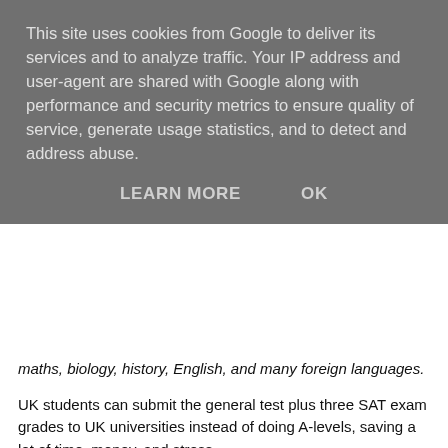This site uses cookies from Google to deliver its services and to analyze traffic. Your IP address and user-agent are shared with Google along with performance and security metrics to ensure quality of service, generate usage statistics, and to detect and address abuse.
LEARN MORE   OK
maths, biology, history, English, and many foreign languages.
UK students can submit the general test plus three SAT exam grades to UK universities instead of doing A-levels, saving a lot of time, money, and stress.
Alongside the grades, students may be asked to provide the university with a transcript of study that shows completion of school-level education, and the video below explains more about this document called a transcript.
For more about taking the US SAT route to UK university, come join the Facebook group called HE Success without UK exams. Many families are members who share how they